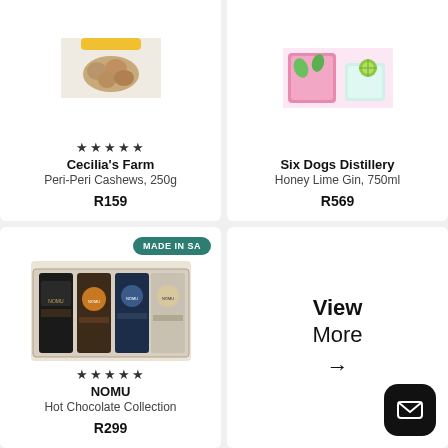[Figure (photo): Cecilia's Farm Peri-Peri Cashews product image (partially cropped at top)]
★★★★★
Cecilia's Farm
Peri-Peri Cashews, 250g
R159
[Figure (photo): Six Dogs Distillery Honey Lime Gin 750ml product image (partially cropped at top)]
Six Dogs Distillery
Honey Lime Gin, 750ml
R569
[Figure (photo): NOMU Hot Chocolate Collection box with four tins]
MADE IN SA
★★★★★
NOMU
Hot Chocolate Collection
R299
View More →